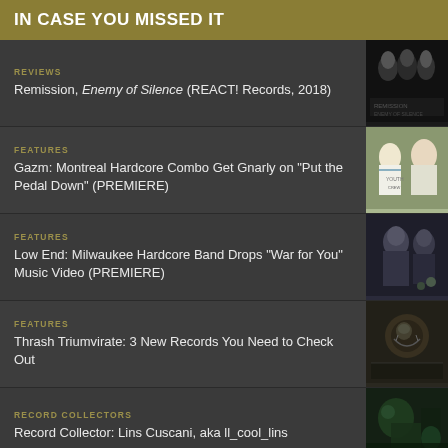IN CASE YOU MISSED IT
REVIEWS
Remission, Enemy of Silence (REACT! Records, 2018)
FEATURES
Gazm: Montreal Hardcore Combo Get Gnarly on "Put the Pedal Down" (PREMIERE)
FEATURES
Low End: Milwaukee Hardcore Band Drops "War for You" Music Video (PREMIERE)
FEATURES
Thrash Triumvirate: 3 New Records You Need to Check Out
RECORD COLLECTORS
Record Collector: Lins Cuscani, aka ll_cool_lins
FEATURES
Devil's Den: Kansas City Band Worships Japanese Hardcore